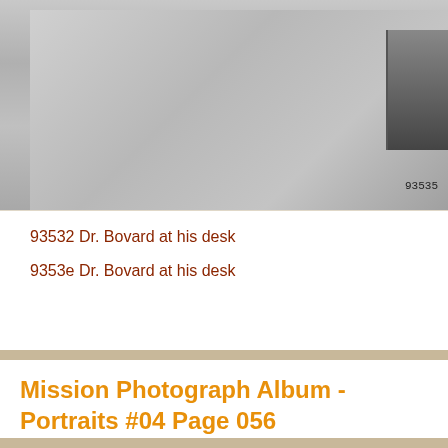[Figure (photo): Black and white photograph of Dr. Bovard at his desk, partially cropped. Shows an interior scene with desk objects visible on the right side. Number 93535 visible in the bottom right corner of the photo.]
93532 Dr. Bovard at his desk

9353e Dr. Bovard at his desk
Mission Photograph Album - Portraits #04 Page 056